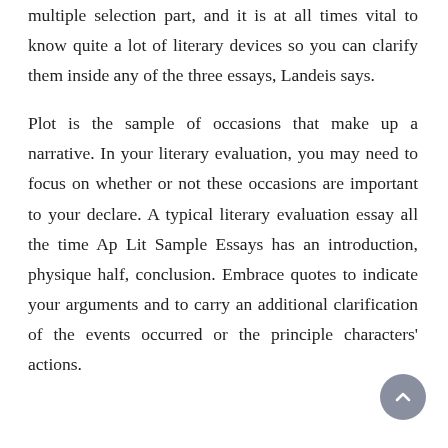multiple selection part, and it is at all times vital to know quite a lot of literary devices so you can clarify them inside any of the three essays, Landeis says.
Plot is the sample of occasions that make up a narrative. In your literary evaluation, you may need to focus on whether or not these occasions are important to your declare. A typical literary evaluation essay all the time Ap Lit Sample Essays has an introduction, physique half, conclusion. Embrace quotes to indicate your arguments and to carry an additional clarification of the events occurred or the principle characters' actions.